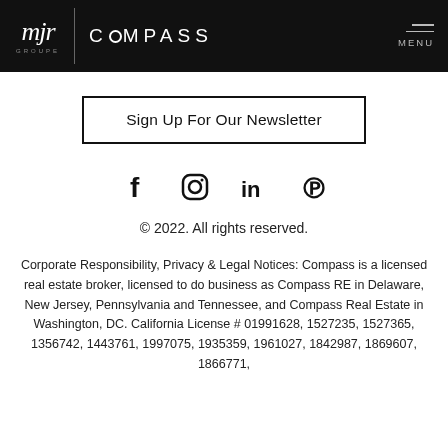mjr GROUPE | COMPASS | MENU
Sign Up For Our Newsletter
[Figure (illustration): Social media icons: Facebook (f), Instagram (camera), LinkedIn (in), Pinterest (P)]
© 2022. All rights reserved.
Corporate Responsibility, Privacy & Legal Notices: Compass is a licensed real estate broker, licensed to do business as Compass RE in Delaware, New Jersey, Pennsylvania and Tennessee, and Compass Real Estate in Washington, DC. California License # 01991628, 1527235, 1527365, 1356742, 1443761, 1997075, 1935359, 1961027, 1842987, 1869607, 1866771,